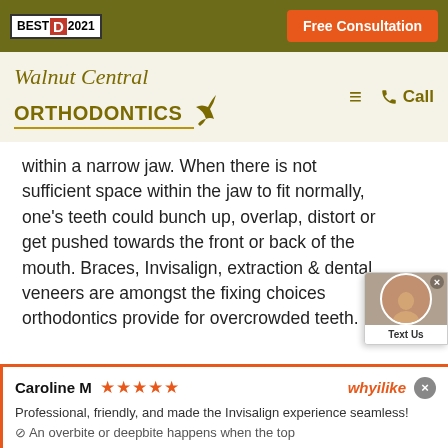BEST D 2021 | Free Consultation
[Figure (logo): Walnut Central Orthodontics logo with script and sans-serif text, bird illustration, hamburger menu and Call button]
within a narrow jaw. When there is not sufficient space within the jaw to fit normally, one's teeth could bunch up, overlap, distort or get pushed towards the front or back of the mouth. Braces, Invisalign, extraction & dental veneers are amongst the fixing choices orthodontics provide for overcrowded teeth.
Overbite, underbite, crossbite
Caroline M ★★★★★ whyilike ×
Professional, friendly, and made the Invisalign experience seamless!
⊘ An overbite or deepbite happens when the top